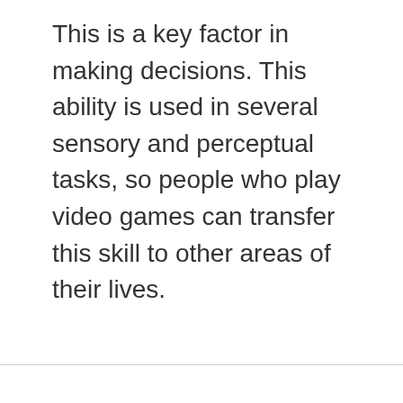This is a key factor in making decisions. This ability is used in several sensory and perceptual tasks, so people who play video games can transfer this skill to other areas of their lives.